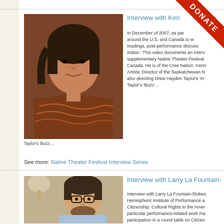[Figure (photo): Portrait photo of a Native American man with dark hair pulled back, wearing a patterned jacket, looking slightly to the side]
Interview with Ken[neth] Charlette[?]
In December of 2007, as par[t of a tour] around the U.S. and Canada to [conduct] readings, post-performance discuss[ions of] Indian.' This video documents an interv[iew] supplementary Native Theater Festival [in] Canada. He is of the Cree Nation. Kenn[eth is] Artistic Director of the Saskatchewan N[ative] also directing Drew Hayden Taylor's 'In[dian]...
Taylor's 'Buzz…
See more: Native Theater Festival Interview Series
[Figure (photo): Photo of a smiling man with glasses and beard wearing a light blue shirt, seated indoors with a lamp visible behind him]
Interview with Larry La Fountain-
Interview with Larry La Fountain-Stokes Hemispheric Institute of Performance a[nd] Citizenship: Cultural Rights in the Amer[icas] particular performance-related work ma[de] participation in a round table on Citizen[ship] 10-day event, which brought together...